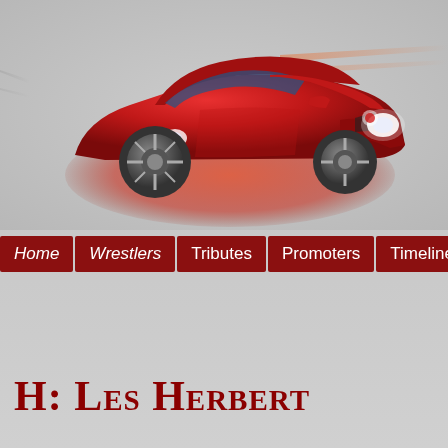[Figure (illustration): Red sports car (Alfa Romeo style) illustration on a grey gradient background with red/orange oval shadow beneath the car and speed streak lines extending to the right]
[Figure (other): Navigation menu bar with dark red rectangular buttons: Home, Wrestlers, Tributes, Promoters, Timeline, Places]
H: Les Herbert